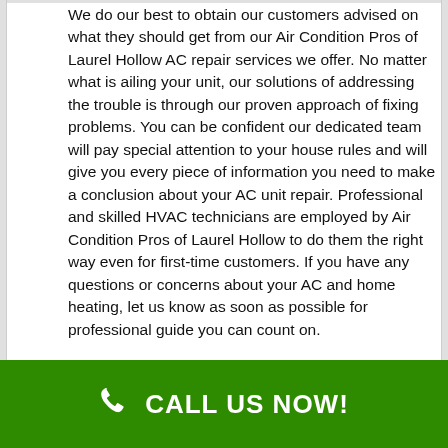We do our best to obtain our customers advised on what they should get from our Air Condition Pros of Laurel Hollow AC repair services we offer. No matter what is ailing your unit, our solutions of addressing the trouble is through our proven approach of fixing problems. You can be confident our dedicated team will pay special attention to your house rules and will give you every piece of information you need to make a conclusion about your AC unit repair. Professional and skilled HVAC technicians are employed by Air Condition Pros of Laurel Hollow to do them the right way even for first-time customers. If you have any questions or concerns about your AC and home heating, let us know as soon as possible for professional guide you can count on.

Air Condition Pros of Laurel Hollow offers A/C repair for home owners and commercial establishments in Laurel Hollow NY. Our well-established company can address any work, no
[Figure (other): Green call-to-action banner with phone icon and text CALL US NOW!]